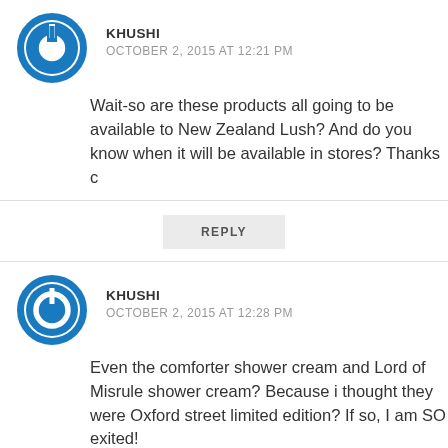[Figure (other): User avatar icon for KHUSHI - circular blue power button icon]
KHUSHI
OCTOBER 2, 2015 AT 12:21 PM
Wait-so are these products all going to be available to New Zealand Lush? And do you know when it will be available in stores? Thanks c
REPLY
[Figure (other): User avatar icon for KHUSHI - circular blue power button icon]
KHUSHI
OCTOBER 2, 2015 AT 12:28 PM
Even the comforter shower cream and Lord of Misrule shower cream? Because i thought they were Oxford street limited edition? If so, I am SO exited!
REPLY
[Figure (other): User avatar photo for RENJIANOOJ - partial circular photo]
RENJIANOOJ